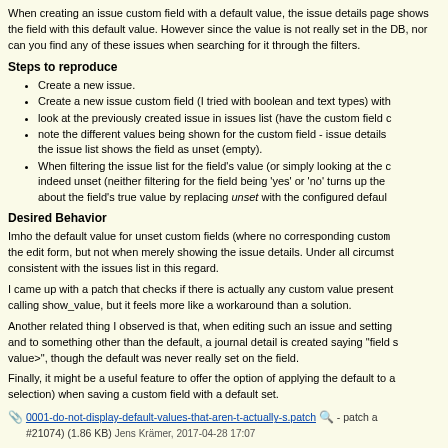When creating an issue custom field with a default value, the issue details page shows the field with this default value. However since the value is not really set in the DB, nor can you find any of these issues when searching for it through the filters.
Steps to reproduce
Create a new issue.
Create a new issue custom field (I tried with boolean and text types) with a default value.
look at the previously created issue in issues list (have the custom field displayed).
note the different values being shown for the custom field - issue details shows the default, the issue list shows the field as unset (empty).
When filtering the issue list for the field's value (or simply looking at the custom field) it is indeed unset (neither filtering for the field being 'yes' or 'no' turns up the issue). The issue details page lies about the field's true value by replacing unset with the configured default.
Desired Behavior
Imho the default value for unset custom fields (where no corresponding custom value exists) should only be shown in the edit form, but not when merely showing the issue details. Under all circumstances, the details page should be consistent with the issues list in this regard.
I came up with a patch that checks if there is actually any custom value present in the DB before calling show_value, but it feels more like a workaround than a solution.
Another related thing I observed is that, when editing such an issue and setting the custom field to and to something other than the default, a journal detail is created saying "field changed from <default value>", though the default was never really set on the field.
Finally, it might be a useful feature to offer the option of applying the default to all issues (or a selection) when saving a custom field with a default set.
0001-do-not-display-default-values-that-aren-t-actually-s.patch - patch a #21074) (1.86 KB) Jens Krämer, 2017-04-28 17:07